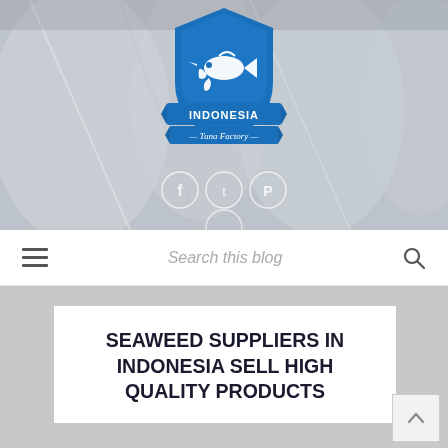[Figure (logo): Indonesia Tuna Factory logo — blue shield with fish graphic, blue banner ribbons, text INDONESIA and Tuna Factory. Set against a grey fabric/textile background with social media icons (Facebook, Twitter, Pinterest) below.]
Search this blog
SEAWEED SUPPLIERS IN INDONESIA SELL HIGH QUALITY PRODUCTS